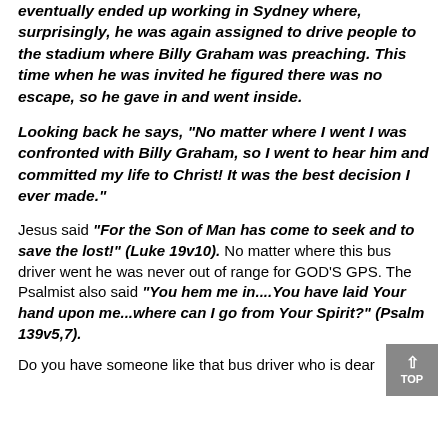eventually ended up working in Sydney where, surprisingly, he was again assigned to drive people to the stadium where Billy Graham was preaching. This time when he was invited he figured there was no escape, so he gave in and went inside.
Looking back he says, “No matter where I went I was confronted with Billy Graham, so I went to hear him and committed my life to Christ! It was the best decision I ever made.”
Jesus said “For the Son of Man has come to seek and to save the lost!” (Luke 19v10). No matter where this bus driver went he was never out of range for GOD’S GPS. The Psalmist also said “You hem me in....You have laid Your hand upon me...where can I go from Your Spirit?” (Psalm 139v5,7).
Do you have someone like that bus driver who is dear